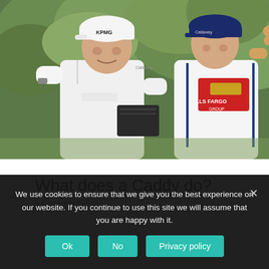[Figure (photo): Two golfers on a course — one wearing a white KPMG cap and Workday polo holding a black notebook, the other in a Callaway cap with a Wells Fargo caddy bib pointing into the distance, with green trees in the background.]
What does a Caddy do?
8 September 2020
We use cookies to ensure that we give you the best experience on our website. If you continue to use this site we will assume that you are happy with it.